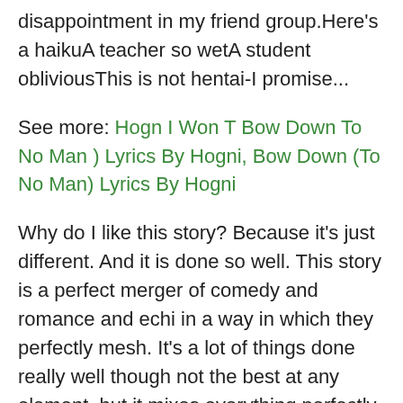disappointment in my friend group.Here's a haikuA teacher so wetA student obliviousThis is not hentai-I promise...
See more: Hogn I Won T Bow Down To No Man ) Lyrics By Hogni, Bow Down (To No Man) Lyrics By Hogni
Why do I like this story? Because it's just different. And it is done so well. This story is a perfect merger of comedy and romance and echi in a way in which they perfectly mesh. It's a lot of things done really well though not the best at any element, but it mixes everything perfectly. It has decent romance, decent comedy, decent echi, decent fluff, decent light hearted cuteness, underwhelming drama, and decent pacing per chapter. But while each individual element is at best decent, they all compliment each